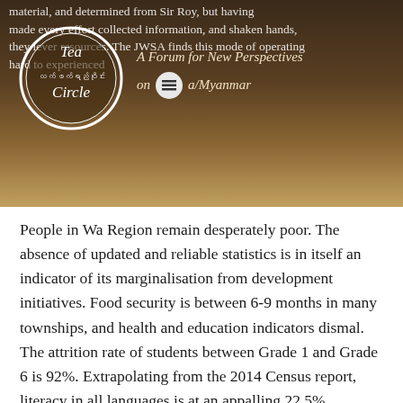[Figure (logo): Tea Circle logo — a circular emblem with 'Tea Circle' text in English and Burmese script, alongside 'A Forum for New Perspectives on Burma/Myanmar' tagline and a hamburger menu icon, overlaid on a dark brown background with partially visible text about JWSA]
People in Wa Region remain desperately poor. The absence of updated and reliable statistics is in itself an indicator of its marginalisation from development initiatives. Food security is between 6-9 months in many townships, and health and education indicators dismal. The attrition rate of students between Grade 1 and Grade 6 is 92%. Extrapolating from the 2014 Census report, literacy in all languages is at an appalling 22.5%.
Many in the development community see access to Wa Region as too dependent on security constraints, programs not cost-effective due to high terrain and transport costs, interventions not sufficiently "impactful" owing to the lack of